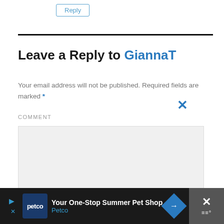Reply
Leave a Reply to GiannaT
Your email address will not be published. Required fields are marked *
COMMENT
[Figure (screenshot): Empty comment text area input field with light gray background]
[Figure (screenshot): Advertisement bar for Petco: Your One-Stop Summer Pet Shop with Petco logo and close button]